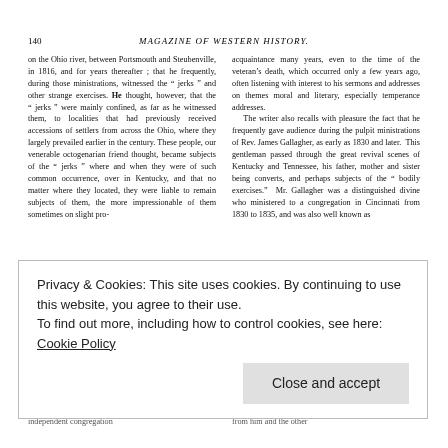140    MAGAZINE OF WESTERN HISTORY.
on the Ohio river, between Portsmouth and Steubenville, in 1816, and for years thereafter ; that he frequently, during those ministrations, witnessed the " jerks " and other strange exercises. He thought, however, that the " jerks " were mainly confined, as far as he witnessed them, to localities that had previously received accessions of settlers from across the Ohio, where they largely prevailed earlier in the century. These people, our venerable octogenarian friend thought, became subjects of the " jerks " where and when they were of such common occurrence, over in Kentucky, and that no matter where they located, they were liable to remain subjects of them, the more impressionable of them sometimes on slight pro-
acquaintance many years, even to the time of the veteran's death, which occurred only a few years ago, often listening with interest to his sermons and addresses on themes moral and literary, especially temperance addresses.
    The writer also recalls with pleasure the fact that he frequently gave audience during the pulpit ministrations of Rev. James Gallagher, as early as 1830 and later. This gentleman passed through the great revival scenes of Kentucky and Tennessee, his father, mother and sister being converts, and perhaps subjects of the " bodily exercises." Mr. Gallagher was a distinguished divine who ministered to a congregation in Cincinnati from 1830 to 1835, and was also well known as
Privacy & Cookies: This site uses cookies. By continuing to use this website, you agree to their use.
To find out more, including how to control cookies, see here: Cookie Policy
Close and accept
ched multitude. He was then ministering to an independent congregation
exercises were of frequent occurrence, and that it was from him and the other